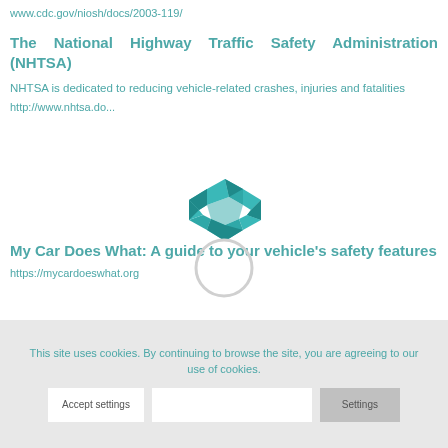www.cdc.gov/niosh/docs/2003-119/
The National Highway Traffic Safety Administration (NHTSA)
NHTSA is dedicated to reducing vehicle-related crashes, injuries and fatalities
http://www.nhtsa.do...
[Figure (logo): NHTSA hexagonal logo in teal/blue color]
[Figure (other): Loading spinner circle]
My Car Does What: A guide to your vehicle's safety features
https://mycardoeswhat.org
This site uses cookies. By continuing to browse the site, you are agreeing to our use of cookies.
Accept settings
Settings